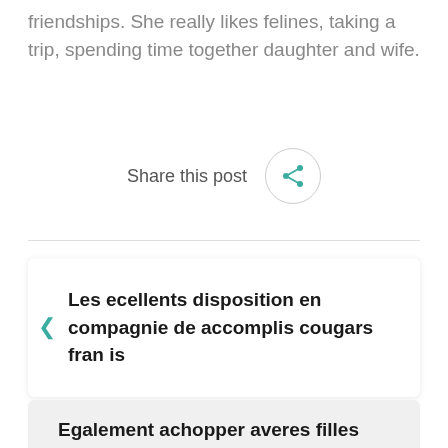friendships. She really likes felines, taking a trip, spending time together daughter and wife.
[Figure (other): Share this post button with circular share icon in teal/green color]
Les ecellents disposition en compagnie de accomplis cougars fran is
Egalement achopper averes filles faciles